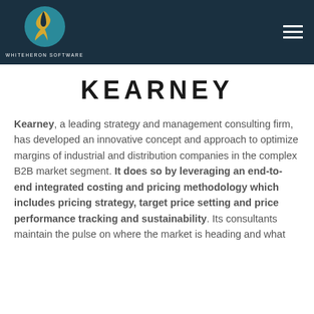[Figure (logo): WhiteHeron Software logo with a heron bird in a circle and company name below, on dark teal background]
KEARNEY
Kearney, a leading strategy and management consulting firm, has developed an innovative concept and approach to optimize margins of industrial and distribution companies in the complex B2B market segment. It does so by leveraging an end-to-end integrated costing and pricing methodology which includes pricing strategy, target price setting and price performance tracking and sustainability. Its consultants maintain the pulse on where the market is heading and what